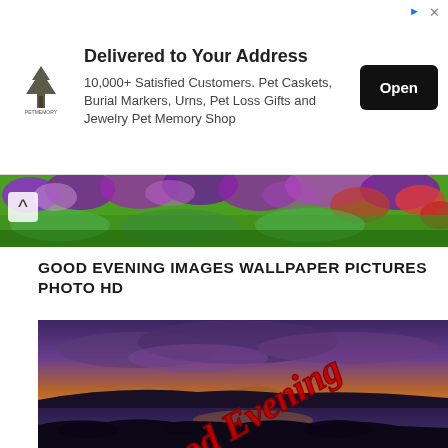[Figure (photo): Advertisement banner: Petmemory logo (tree icon), text 'Delivered to Your Address', '10,000+ Satisfied Customers. Pet Caskets, Burial Markers, Urns, Pet Loss Gifts and Jewelry Pet Memory Shop', with a black 'Open' button. Ad icons top right.]
[Figure (photo): Floral field strip showing colorful purple, green, and red flowers from above, spanning the width of the page.]
GOOD EVENING IMAGES WALLPAPER PICTURES PHOTO HD
[Figure (photo): A scenic coastal sunset photo with dramatic purple and orange sky, dark rocky shoreline, and water reflections. Overlaid with large diagonal italic red text reading 'Good Evening'.]